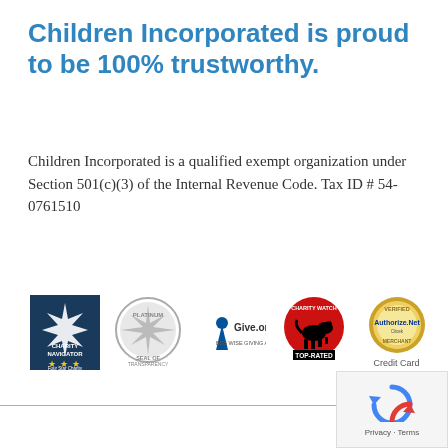Children Incorporated is proud to be 100% trustworthy.
Children Incorporated is a qualified exempt organization under Section 501(c)(3) of the Internal Revenue Code. Tax ID # 54-0761510
[Figure (logo): Charity Navigator Four Star Charity badge — dark blue background with white compass star and gold stars]
[Figure (logo): Seal of Transparency Platinum circular badge — silver with compass star design]
[Figure (logo): BBB Give.org Accredited Charity logo]
[Figure (logo): Charity Watch Top-Rated badge — red circle with black dog silhouette]
[Figure (logo): Authorize.Net Verified Merchant credit card processing badge with text 'Credit Card Processing']
[Figure (logo): Google reCAPTCHA widget in bottom right corner with Privacy and Terms text]